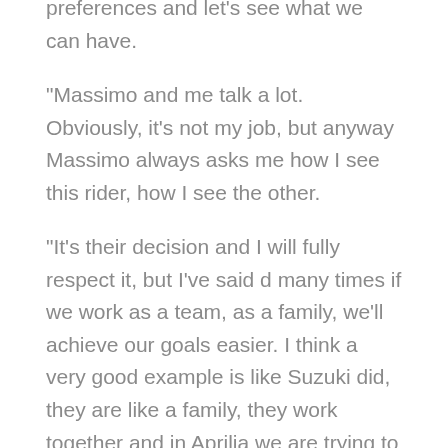preferences and let’s see what we can have.
“Massimo and me talk a lot. Obviously, it’s not my job, but anyway Massimo always asks me how I see this rider, how I see the other.
“It’s their decision and I will fully respect it, but I’ve said d many times if we work as a team, as a family, we’ll achieve our goals easier. I think a very good example is like Suzuki did, they are like a family, they work together and in Aprilia we are trying to do the same.
“But this year after Iannone’s case it’s very difficult to have the perfect team-mate [for 2021].”
[...2]